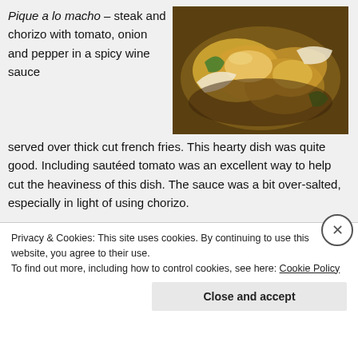Pique a lo macho – steak and chorizo with tomato, onion and pepper in a spicy wine sauce served over thick cut french fries. This hearty dish was quite good. Including sautéed tomato was an excellent way to help cut the heaviness of this dish. The sauce was a bit over-salted, especially in light of using chorizo.
[Figure (photo): A plate of Pique a lo macho with steak, chorizo, onion, peppers and sauce over french fries]
[Figure (photo): A pan with grilled meats being cooked]
Parillada a Los Andes – 'grilled' meats – rib eye, beef short rib...
Privacy & Cookies: This site uses cookies. By continuing to use this website, you agree to their use.
To find out more, including how to control cookies, see here: Cookie Policy
Close and accept